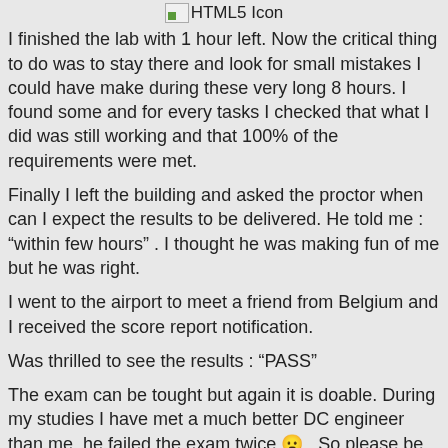[Figure (other): HTML5 icon placeholder image with broken image icon and label 'HTML5 Icon']
I finished the lab with 1 hour left. Now the critical thing to do was to stay there and look for small mistakes I could have make during these very long 8 hours. I found some and for every tasks I checked that what I did was still working and that 100% of the requirements were met.
Finally I left the building and asked the proctor when can I expect the results to be delivered. He told me : “within few hours” . I thought he was making fun of me but he was right.
I went to the airport to meet a friend from Belgium and I received the score report notification.
Was thrilled to see the results : “PASS”
The exam can be tought but again it is doable. During my studies I have met a much better DC engineer than me, he failed the exam twice 😦 . So please be sure to read slowly and try to understand what they really want...